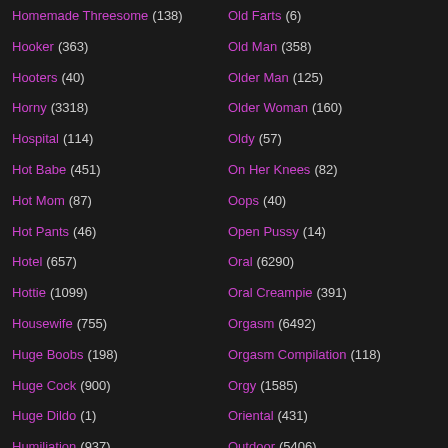Homemade Threesome (138)
Hooker (363)
Hooters (40)
Horny (3318)
Hospital (114)
Hot Babe (451)
Hot Mom (87)
Hot Pants (46)
Hotel (657)
Hottie (1099)
Housewife (755)
Huge Boobs (198)
Huge Cock (900)
Huge Dildo (1)
Humiliation (937)
Hungarian (517)
Old Farts (6)
Old Man (358)
Older Man (125)
Older Woman (160)
Oldy (57)
On Her Knees (82)
Oops (40)
Open Pussy (14)
Oral (6290)
Oral Creampie (391)
Orgasm (6492)
Orgasm Compilation (118)
Orgy (1585)
Oriental (431)
Outdoor (5406)
Own Cum (111)